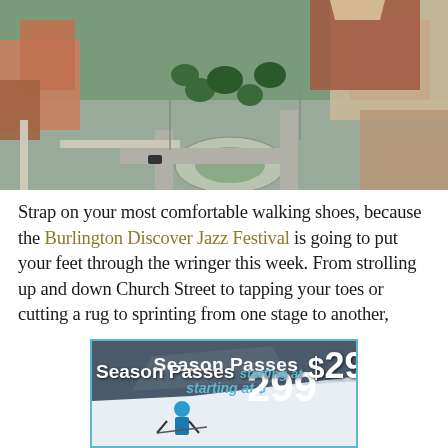[Figure (photo): Aerial view of Burlington downtown showing Church Street, surrounding buildings, trees, and intersections]
Strap on your most comfortable walking shoes, because the Burlington Discover Jazz Festival is going to put your feet through the wringer this week. From strolling up and down Church Street to tapping your toes or cutting a rug to sprinting from one stage to another,
[Figure (photo): Advertisement banner: Season Passes starting at $299, showing a skier on a slope with cyan/blue color scheme]